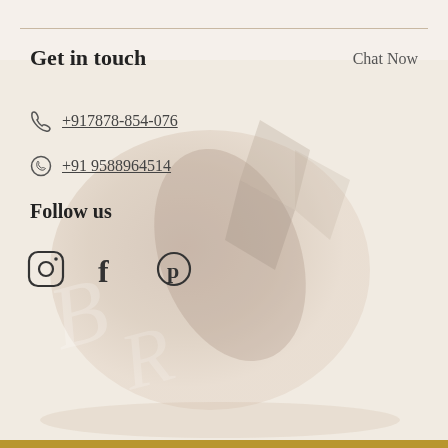Get in touch
Chat Now
+917878-854-076
+91 9588964514
Follow us
[Figure (illustration): Social media icons: Instagram, Facebook, Pinterest]
[Figure (photo): Background photo of a crystal or mineral stone on a light wooden surface, with a decorative script watermark overlay]